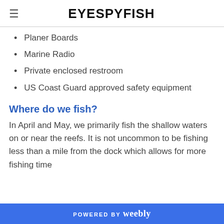EYESPYFISH
Planer Boards
Marine Radio
Private enclosed restroom
US Coast Guard approved safety equipment
Where do we fish?
In April and May, we primarily fish the shallow waters on or near the reefs. It is not uncommon to be fishing less than a mile from the dock which allows for more fishing time...
POWERED BY weebly